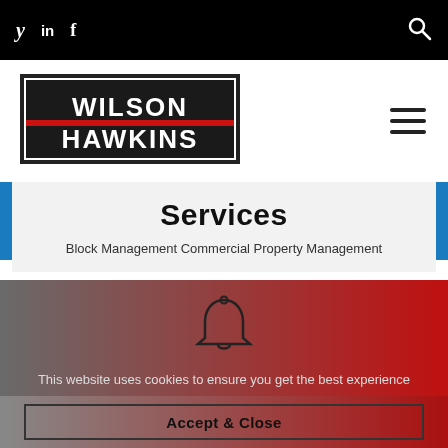Twitter LinkedIn Facebook [Search]
[Figure (logo): Wilson Hawkins logo — black rectangle with white bold text WILSON over HAWKINS, separated by a red stripe]
Services
Block Management Commercial Property Management
[Figure (illustration): Bell icon (cookie notification bell) in dark outline on gradient grey-to-red background]
This website uses cookies to ensure you get the best experience on our website.
Accept & Close